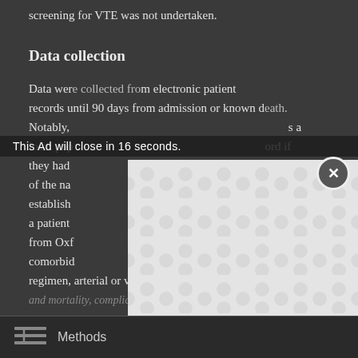screening for VTE was not undertaken.
Data collection
Data were collected from an electronic patient records until 90 days from admission or known death. Notably, [obscured by ad] as a local pop[obscured] ord if they had [obscured] As part of the na[obscured] establish[obscured] rm us if a patient [obscured] arge from Oxf[obscured] comorbid[obscured] xis regimen, arterial or venous thrombotic events, bleeding [obscured] mortality, complications, and influenza cure.
[Figure (screenshot): Ad overlay covering center of the page with blob/fidget-spinner pattern background. Ad close countdown reads: This Ad will close in 16 seconds. Close button (X in circle) visible at top right of ad.]
Methods